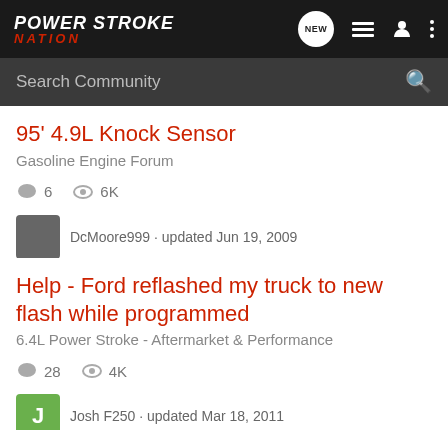Power Stroke Nation
Search Community
95' 4.9L Knock Sensor
Gasoline Engine Forum
6 replies · 6K views
DcMoore999 · updated Jun 19, 2009
Help - Ford reflashed my truck to new flash while programmed
6.4L Power Stroke - Aftermarket & Performance
28 replies · 4K views
Josh F250 · updated Mar 18, 2011